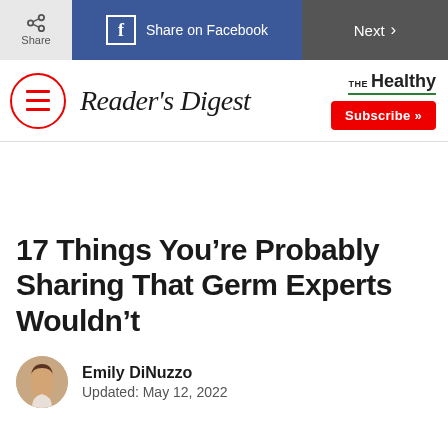Share | Share on Facebook | Next
[Figure (logo): Reader's Digest logo with hamburger menu icon, THE Healthy link, and Subscribe button]
17 Things You’re Probably Sharing That Germ Experts Wouldn’t
Emily DiNuzzo
Updated: May 12, 2022